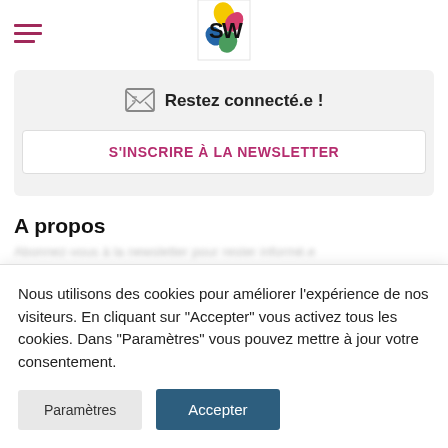[Figure (logo): Stylized 'SW' logo with colorful leaf/petal shapes in yellow, pink, blue, and green]
Restez connecté.e !
S'INSCRIRE À LA NEWSLETTER
A propos
Nous utilisons des cookies pour améliorer l'expérience de nos visiteurs. En cliquant sur "Accepter" vous activez tous les cookies. Dans "Paramètres" vous pouvez mettre à jour votre consentement.
Paramètres
Accepter